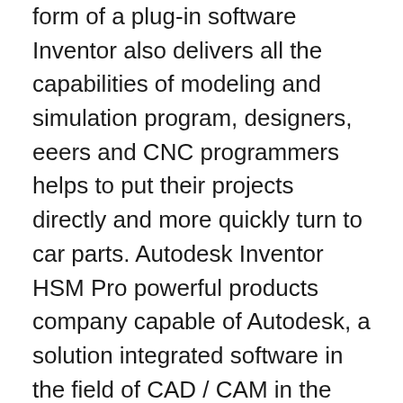form of a plug-in software Inventor also delivers all the capabilities of modeling and simulation program, designers, eeers and CNC programmers helps to put their projects directly and more quickly turn to car parts. Autodesk Inventor HSM Pro powerful products company capable of Autodesk, a solution integrated software in the field of CAD / CAM in the field of mechanical parts in the form of a plug-in software Inventor also delivers all the capabilities of modeling and simulation program, designers, engineers and CNC programmers helps to put their projects directly and more quickly turn to car parts Inventor CAM supports patterning of entire setups using the Multiple WCS offsets feature, which essentially duplicates entire setups using different work offsets. This feature is generally used when the individual positions of each part on a jig or